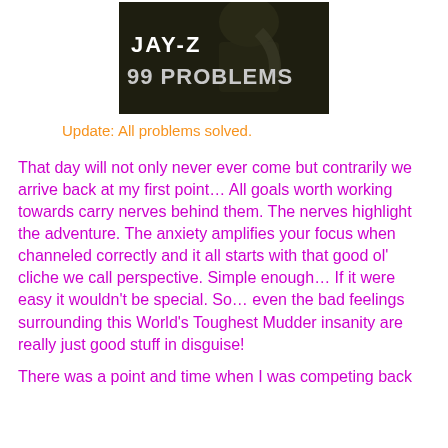[Figure (photo): Jay-Z 99 Problems album/single cover image — dark monochrome photo with text 'JAY-Z 99 PROBLEMS' overlaid]
Update: All problems solved.
That day will not only never ever come but contrarily we arrive back at my first point… All goals worth working towards carry nerves behind them. The nerves highlight the adventure. The anxiety amplifies your focus when channeled correctly and it all starts with that good ol' cliche we call perspective. Simple enough… If it were easy it wouldn't be special. So… even the bad feelings surrounding this World's Toughest Mudder insanity are really just good stuff in disguise!
There was a point and time when I was competing back